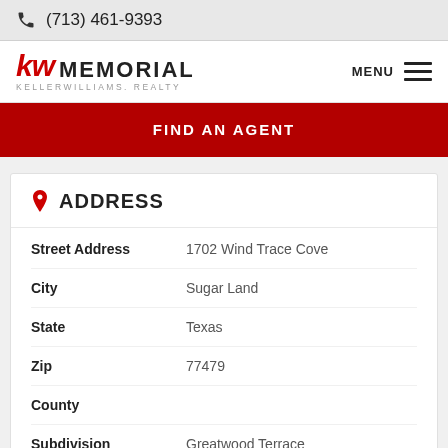(713) 461-9393
[Figure (logo): KW Memorial Keller Williams Realty logo with red KW initials and black MEMORIAL text]
FIND AN AGENT
ADDRESS
| Field | Value |
| --- | --- |
| Street Address | 1702 Wind Trace Cove |
| City | Sugar Land |
| State | Texas |
| Zip | 77479 |
| County |  |
| Subdivision | Greatwood Terrace |